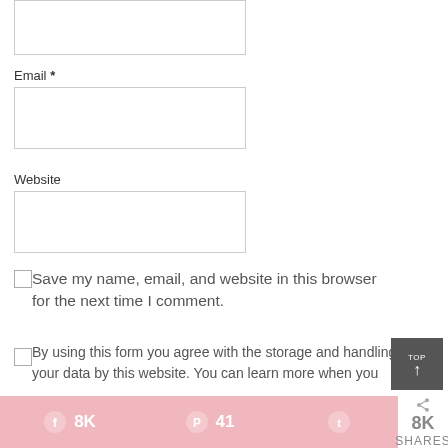Email *
Website
Save my name, email, and website in this browser for the next time I comment.
By using this form you agree with the storage and handling of your data by this website. You can learn more when you
8K  41  8K SHARES